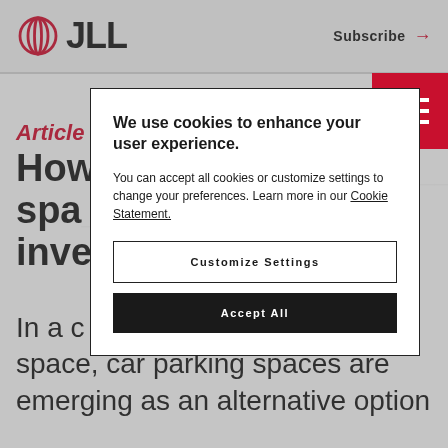JLL | Subscribe →
Article
How parking spaces are becoming investment opportunities
In a changing market, car parking spaces are emerging as an alternative option for investors looking for steady returns
[Figure (screenshot): Cookie consent modal dialog with title 'We use cookies to enhance your user experience.' and two buttons: 'Customize Settings' and 'Accept All']